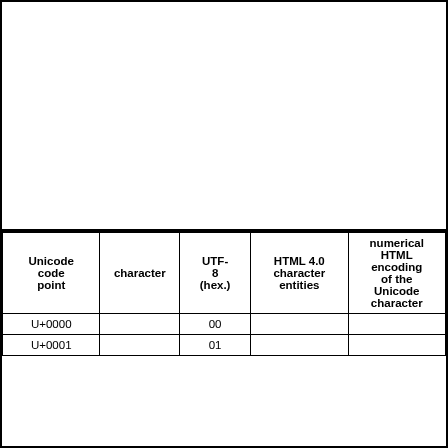| Unicode code point | character | UTF-8 (hex.) | HTML 4.0 character entities | numerical HTML encoding of the Unicode character |
| --- | --- | --- | --- | --- |
| U+0000 |  | 00 |  |  |
| U+0001 |  | 01 |  |  |